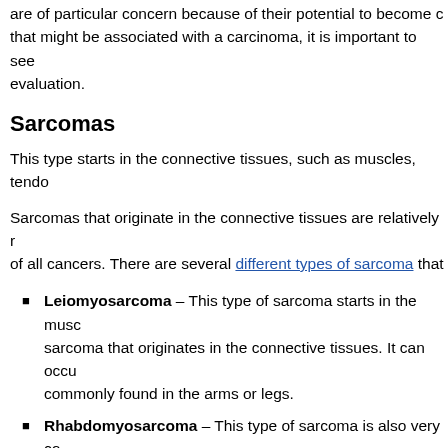are of particular concern because of their potential to become ca that might be associated with a carcinoma, it is important to see evaluation.
Sarcomas
This type starts in the connective tissues, such as muscles, tendo
Sarcomas that originate in the connective tissues are relatively r of all cancers. There are several different types of sarcoma that
Leiomyosarcoma – This type of sarcoma starts in the musc sarcoma that originates in the connective tissues. It can occu commonly found in the arms or legs.
Rhabdomyosarcoma – This type of sarcoma is also very co is most commonly found in children and young adults.
Liposarcoma – This type of sarcoma starts in the fat cells a sarcoma that originates in the connective tissues. It can occu commonly found in the thighs or buttocks.